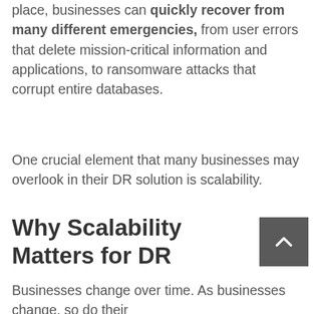place, businesses can quickly recover from many different emergencies, from user errors that delete mission-critical information and applications, to ransomware attacks that corrupt entire databases.
One crucial element that many businesses may overlook in their DR solution is scalability.
Why Scalability Matters for DR
Businesses change over time. As businesses change, so do their